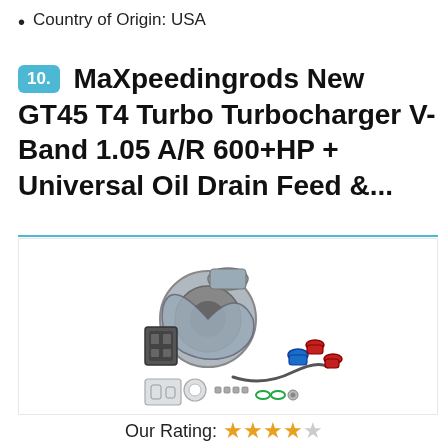Country of Origin: USA
10. MaXpeedingrods New GT45 T4 Turbo Turbocharger V-Band 1.05 A/R 600+HP + Universal Oil Drain Feed &...
[Figure (photo): Product photo of MaXpeedingrods GT45 T4 turbocharger and oil feed/drain kit with fittings and gaskets on white background]
Our Rating: